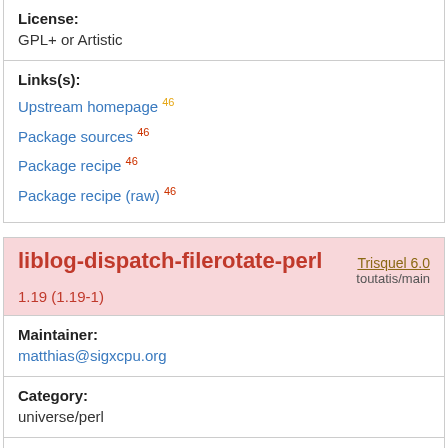License:
GPL+ or Artistic
Links(s):
Upstream homepage 46
Package sources 46
Package recipe 46
Package recipe (raw) 46
liblog-dispatch-filerotate-perl 1.19 (1.19-1) Trisquel 6.0 toutatis/main
Maintainer:
matthias@sigxcpu.org
Category:
universe/perl
Links(s):
Upstream homepage 46